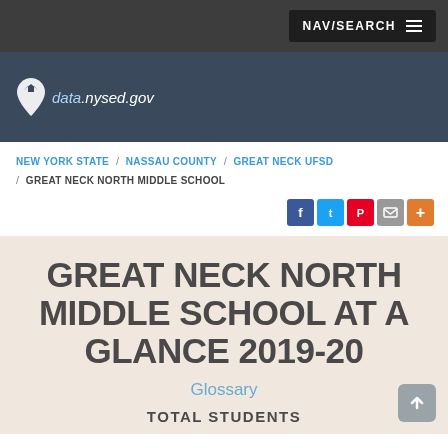NAV/SEARCH
[Figure (logo): data.nysed.gov logo with New York state map icon in white/blue on dark navy background]
NEW YORK STATE / NASSAU COUNTY / GREAT NECK UFSD / GREAT NECK NORTH MIDDLE SCHOOL
[Figure (infographic): Social share icons: Facebook, Twitter, Pinterest, Email, More (+)]
GREAT NECK NORTH MIDDLE SCHOOL AT A GLANCE 2019-20
Glossary
TOTAL STUDENTS